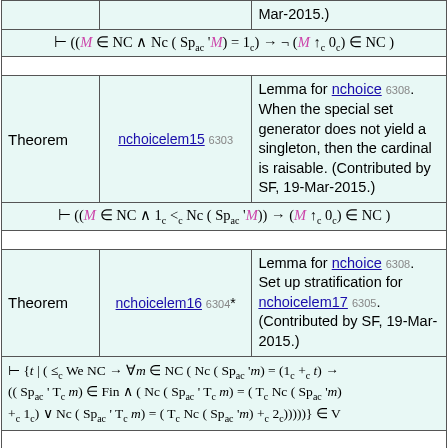|  |  | Mar-2015.) |
| ⊢ ((M ∈ NC ∧ Nc( Spac 'M) = 1c) → ¬(M ↑c 0c) ∈ NC ) |
| Theorem | nchoicelem15 6303 | Lemma for nchoice 6308. When the special set generator does not yield a singleton, then the cardinal is raisable. (Contributed by SF, 19-Mar-2015.) |
| ⊢ ((M ∈ NC ∧ 1c <c Nc( Spac 'M)) → (M ↑c 0c) ∈ NC ) |
| Theorem | nchoicelem16 6304* | Lemma for nchoice 6308. Set up stratification for nchoicelem17 6305. (Contributed by SF, 19-Mar-2015.) |
| ⊢ {t | (≤c We NC → ∀m ∈ NC ( Nc( Spac 'm) = (1c +c t) → ((Spac ' Tc m) ∈ Fin ∧ ( Nc( Spac ' Tc m) = (Tc Nc( Spac 'm) +c 1c) ∨ Nc( Spac ' Tc m) = (Tc Nc( Spac 'm) +c 2c)))))} ∈ V |
|  |  | Lemma for nchoice 6308. If the special set of a cardinal is finite, then so is the special set of its T- |